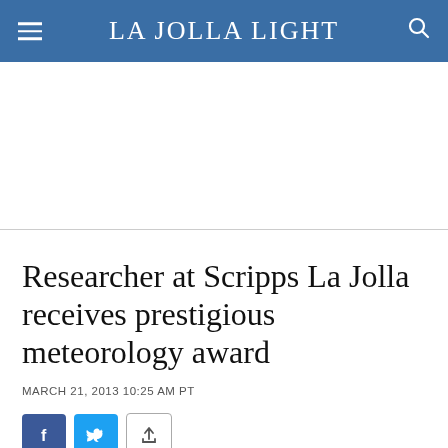La Jolla Light
Researcher at Scripps La Jolla receives prestigious meteorology award
MARCH 21, 2013 10:25 AM PT